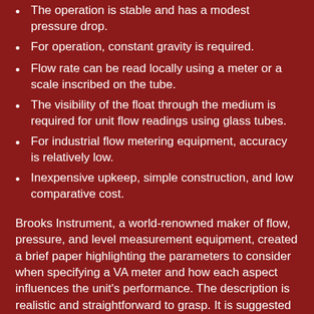The operation is stable and has a modest pressure drop.
For operation, constant gravity is required.
Flow rate can be read locally using a meter or a scale inscribed on the tube.
The visibility of the float through the medium is required for unit flow readings using glass tubes.
For industrial flow metering equipment, accuracy is relatively low.
Inexpensive upkeep, simple construction, and low comparative cost.
Brooks Instrument, a world-renowned maker of flow, pressure, and level measurement equipment, created a brief paper highlighting the parameters to consider when specifying a VA meter and how each aspect influences the unit's performance. The description is realistic and straightforward to grasp. It is suggested reading for all process stakeholders who want to improve their flow measuring skills.